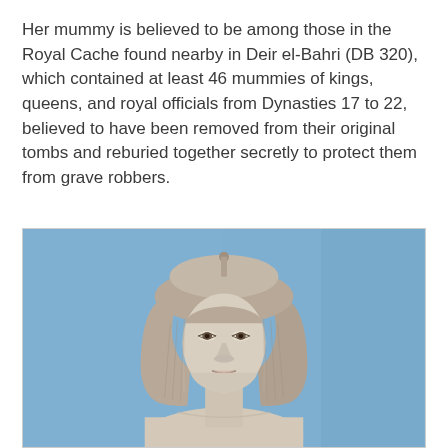Her mummy is believed to be among those in the Royal Cache found nearby in Deir el-Bahri (DB 320), which contained at least 46 mummies of kings, queens, and royal officials from Dynasties 17 to 22, believed to have been removed from their original tombs and reburied together secretly to protect them from grave robbers.
[Figure (photo): Photograph of an ancient Egyptian statue bust showing a female figure with a tripartite wig and crown base, set against a light blue background. The statue appears to be made of pale stone or alabaster.]